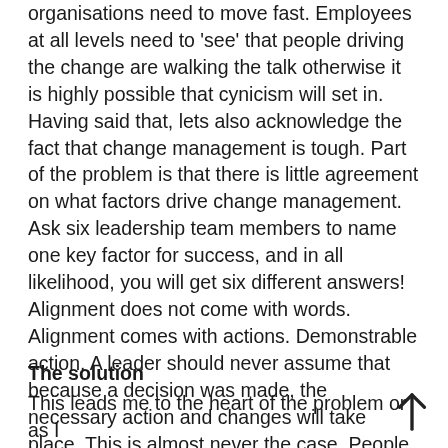organisations need to move fast. Employees at all levels need to 'see' that people driving the change are walking the talk otherwise it is highly possible that cynicism will set in. Having said that, lets also acknowledge the fact that change management is tough. Part of the problem is that there is little agreement on what factors drive change management. Ask six leadership team members to name one key factor for success, and in all likelihood, you will get six different answers! Alignment does not come with words. Alignment comes with actions. Demonstrable action. A leader should never assume that because a decision was made, the necessary action and changes will take place. This is almost never the case. People who have been in business for as long as I have will certainly attest to this fact.
The solution
This leads me to the heart of the problem or as I